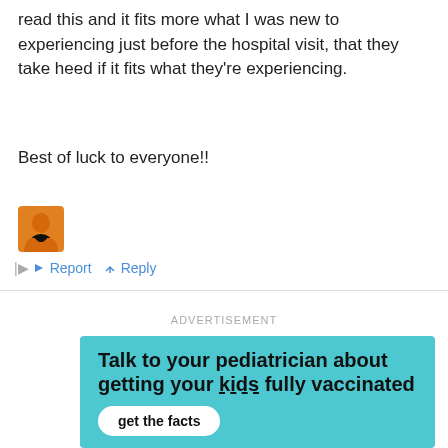read this and it fits more what I was new to experiencing just before the hospital visit, that they take heed if it fits what they're experiencing.
Best of luck to everyone!!
[Figure (illustration): User avatar icon showing a person silhouette with a heart symbol, orange/brown colored square avatar]
Report   Reply
ADVERTISEMENT
[Figure (infographic): Teal/cyan colored advertisement box with bold black text: 'Talk to your pediatrician about getting your kids fully vaccinated' with a white 'get the facts' button]